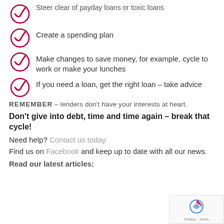Steer clear of payday loans or toxic loans
Create a spending plan
Make changes to save money, for example, cycle to work or make your lunches
If you need a loan, get the right loan – take advice
REMEMBER – lenders don't have your interests at heart.
Don't give into debt, time and time again – break that cycle!
Need help? Contact us today.
Find us on Facebook and keep up to date with all our news.
Read our latest articles: